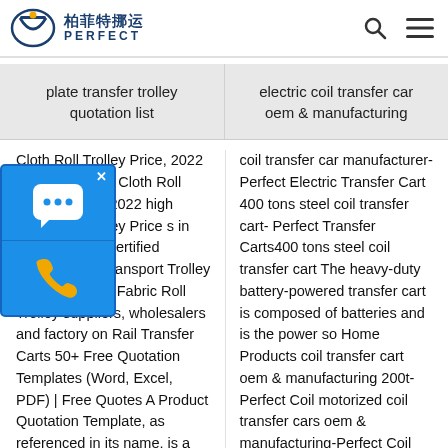[Figure (logo): Perfect (柏菲特挪运) company logo with blue emblem and text, plus search and menu icons on the right]
plate transfer trolley quotation list
electric coil transfer car oem & manufacturing
Cloth Roll Trolley Price, 2022 oll Trolley Price Cloth Roll Price – Select 2022 high Cloth Roll Trolley Price s in best price from ertified Chinese Roll Transport Trolley manufacturers, Fabric Roll Trolley suppliers, wholesalers and factory on Rail Transfer Carts 50+ Free Quotation Templates (Word, Excel, PDF) | Free Quotes A Product Quotation Template, as referenced in its name, is a
coil transfer car manufacturer- Perfect Electric Transfer Cart 400 tons steel coil transfer cart- Perfect Transfer Carts400 tons steel coil transfer cart The heavy-duty battery-powered transfer cart is composed of batteries and is the power so Home Products coil transfer cart oem & manufacturing 200t-Perfect Coil motorized coil transfer cars oem & manufacturing-Perfect Coil transfer wagon, transfer wagon Suppliers and Manufacturers at.
[Figure (screenshot): Blue chat widget overlay with chat bubble icon and phone icon]